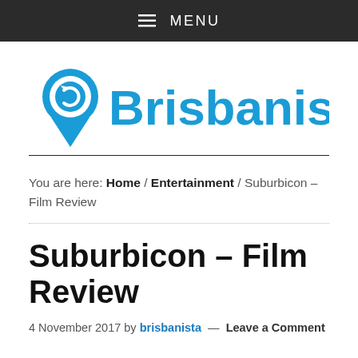≡ MENU
[Figure (logo): Brisbanista logo: blue location pin icon with circular arrow inside, next to bold blue text 'Brisbanista']
You are here: Home / Entertainment / Suburbicon – Film Review
Suburbicon – Film Review
4 November 2017 by brisbanista — Leave a Comment